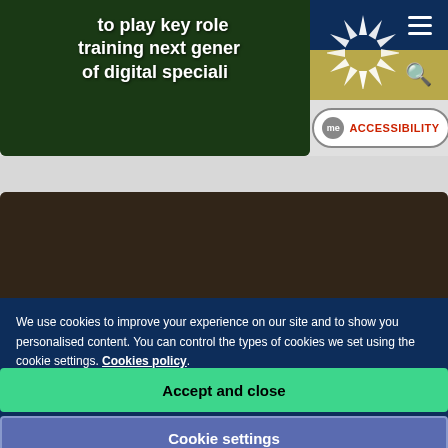[Figure (screenshot): Hero image card showing circuit board background with white bold text overlay]
to play key role training next generation of digital specialists
[Figure (logo): Sunderland University starburst logo in white on dark blue background]
[Figure (screenshot): Accessibility badge with 'me' bubble and red ACCESSIBILITY text]
[Figure (photo): Photo of blonde woman at laptop with text overlay 'Sunderland signs digital']
We use cookies to improve your experience on our site and to show you personalised content. You can control the types of cookies we set using the cookie settings. Cookies policy
Accept and close
Cookie settings